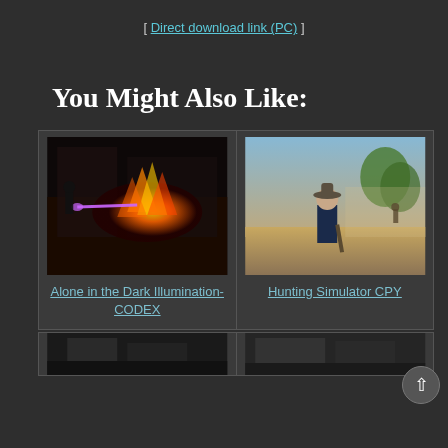[ Direct download link (PC) ]
You Might Also Like:
[Figure (screenshot): Game screenshot for Alone in the Dark Illumination-CODEX showing a dark action scene with fire and a character]
Alone in the Dark Illumination-CODEX
[Figure (screenshot): Game screenshot for Hunting Simulator CPY showing an outdoor hunting scene with a person holding a rifle]
Hunting Simulator CPY
[Figure (screenshot): Partial game screenshot at bottom left, dark indoor scene]
[Figure (screenshot): Partial game screenshot at bottom right, dark scene]